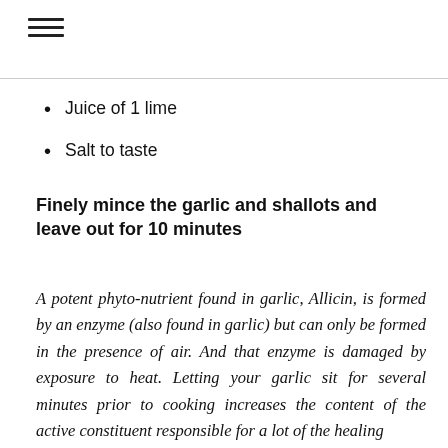Juice of 1 lime
Salt to taste
Finely mince the garlic and shallots and leave out for 10 minutes
A potent phyto-nutrient found in garlic, Allicin, is formed by an enzyme (also found in garlic) but can only be formed in the presence of air. And that enzyme is damaged by exposure to heat. Letting your garlic sit for several minutes prior to cooking increases the content of the active constituent responsible for a lot of the healing